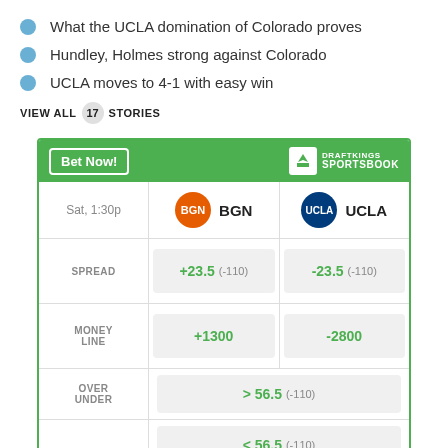What the UCLA domination of Colorado proves
Hundley, Holmes strong against Colorado
UCLA moves to 4-1 with easy win
VIEW ALL 17 STORIES
|  | BGN | UCLA |
| --- | --- | --- |
| SPREAD | +23.5 (-110) | -23.5 (-110) |
| MONEY LINE | +1300 | -2800 |
| OVER UNDER | > 56.5 (-110) | < 56.5 (-110) |